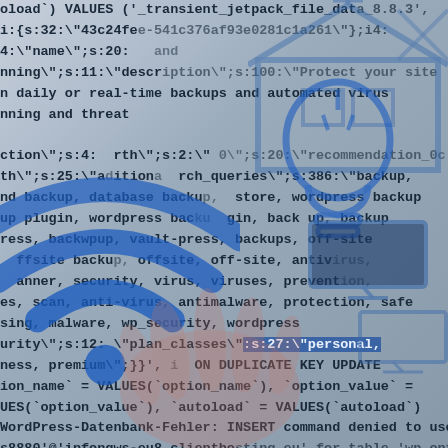[Figure (screenshot): Composite image showing database SQL code / WordPress option data as monospace text overlaid on a blurred background featuring a blue WiFi symbol, network/house diagram icon, lightbulb icon, monitor icons, and a person's hand, with a highlighted error line reading 'WordPress-Datenbank-Fehler: INSERT command denied to user']